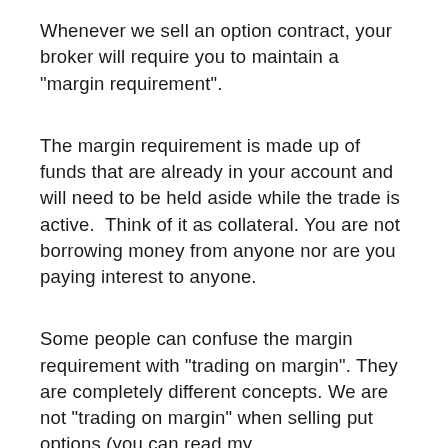Whenever we sell an option contract, your broker will require you to maintain a "margin requirement".
The margin requirement is made up of funds that are already in your account and will need to be held aside while the trade is active.  Think of it as collateral.  You are not borrowing money from anyone nor are you paying interest to anyone.
Some people can confuse the margin requirement with "trading on margin". They are completely different concepts. We are not "trading on margin" when selling put options (you can read my